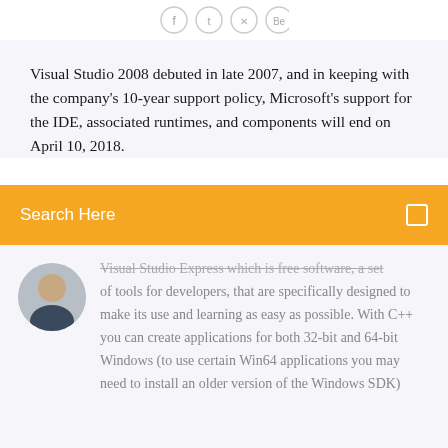[Figure (other): Social media icons (Facebook, Twitter, Dribbble, Behance) displayed as small circles in a row]
Visual Studio 2008 debuted in late 2007, and in keeping with the company's 10-year support policy, Microsoft's support for the IDE, associated runtimes, and components will end on April 10, 2018.
Search Here
Visual Studio Express which is free software, a set of tools for developers, that are specifically designed to make its use and learning as easy as possible. With C++ you can create applications for both 32-bit and 64-bit Windows (to use certain Win64 applications you may need to install an older version of the Windows SDK)